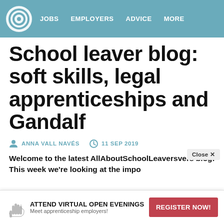JOBS   EMPLOYERS   ADVICE   MORE
School leaver blog: soft skills, legal apprenticeships and Gandalf
ANNA VALL NAVÉS   11 SEP 2019
Welcome to the latest AllAboutSchoolLeavers blog! This week we're looking at the impo
ATTEND VIRTUAL OPEN EVENINGS
Meet apprenticeship employers!
REGISTER NOW!